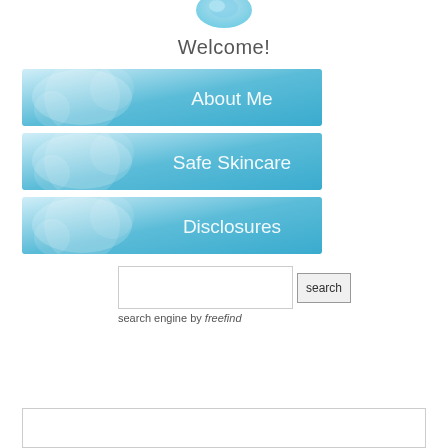[Figure (illustration): Partial logo image at top center, blue/teal graphic partially visible]
Welcome!
[Figure (other): Navigation button with light blue gradient background and circular bubble design, text: About Me]
[Figure (other): Navigation button with light blue gradient background and circular bubble design, text: Safe Skincare]
[Figure (other): Navigation button with light blue gradient background and circular bubble design, text: Disclosures]
search engine by freefind